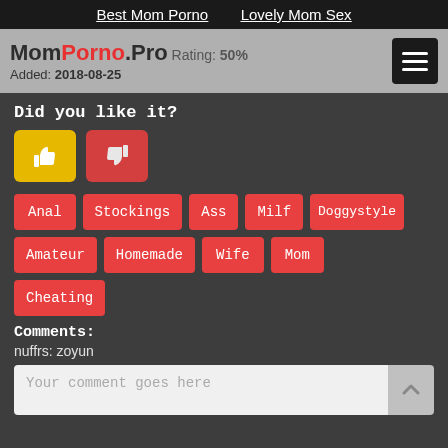Best Mom Porno   Lovely Mom Sex
MomPorno.Pro Rating: 50% Added: 2018-08-25
Did you like it?
[Figure (other): Thumbs up (like) and thumbs down (dislike) vote buttons]
Anal
Stockings
Ass
Milf
Doggystyle
Amateur
Homemade
Wife
Mom
Cheating
Comments:
nuffrs: zoyun
Your comment goes here